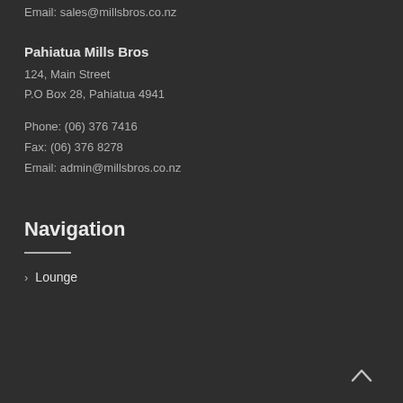Email: sales@millsbros.co.nz
Pahiatua Mills Bros
124, Main Street
P.O Box 28, Pahiatua 4941
Phone: (06) 376 7416
Fax: (06) 376 8278
Email: admin@millsbros.co.nz
Navigation
Lounge